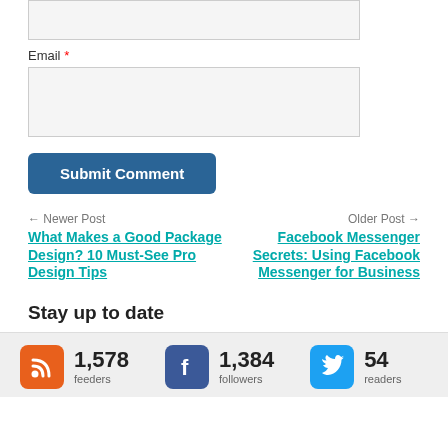Email *
Submit Comment
← Newer Post
What Makes a Good Package Design? 10 Must-See Pro Design Tips
Older Post →
Facebook Messenger Secrets: Using Facebook Messenger for Business
Stay up to date
1,578 feeders
1,384 followers
54 readers